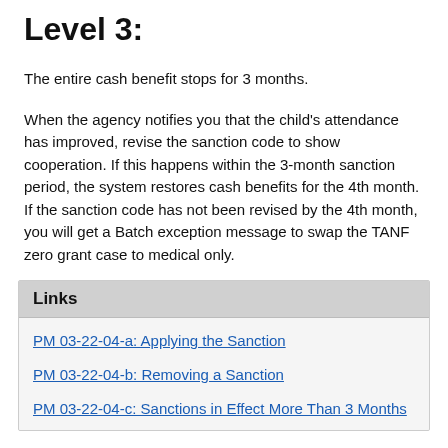Level 3:
The entire cash benefit stops for 3 months.
When the agency notifies you that the child's attendance has improved, revise the sanction code to show cooperation. If this happens within the 3-month sanction period, the system restores cash benefits for the 4th month. If the sanction code has not been revised by the 4th month, you will get a Batch exception message to swap the TANF zero grant case to medical only.
Links
PM 03-22-04-a: Applying the Sanction
PM 03-22-04-b: Removing a Sanction
PM 03-22-04-c: Sanctions in Effect More Than 3 Months